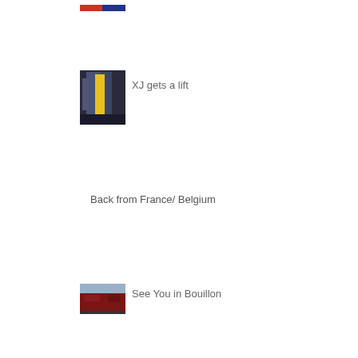[Figure (photo): Partial photo at top of page, cropped]
[Figure (photo): Photo of XJ vehicle getting a lift - industrial/mechanical image with yellow component visible]
XJ gets a lift
Back from France/ Belgium
[Figure (photo): Photo of a dark red Jeep vehicle with sky/landscape background, for See You in Bouillon entry]
See You in Bouillon